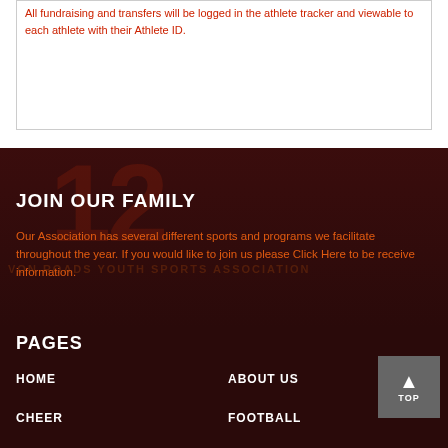All fundraising and transfers will be logged in the athlete tracker and viewable to each athlete with their Athlete ID.
JOIN OUR FAMILY
Our Association has several different sports and programs we facilitate throughout the year. If you would like to join us please Click Here to be receive information.
PAGES
HOME
ABOUT US
CHEER
FOOTBALL